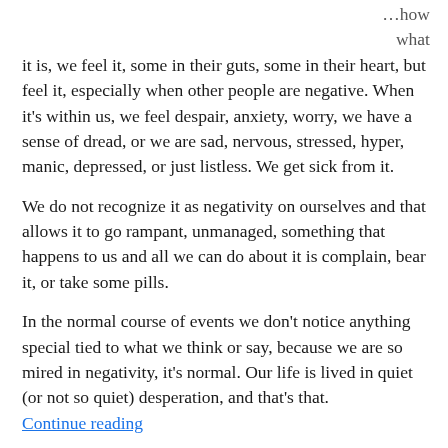...how what it is, we feel it, some in their guts, some in their heart, but feel it, especially when other people are negative. When it's within us, we feel despair, anxiety, worry, we have a sense of dread, or we are sad, nervous, stressed, hyper, manic, depressed, or just listless. We get sick from it.

We do not recognize it as negativity on ourselves and that allows it to go rampant, unmanaged, something that happens to us and all we can do about it is complain, bear it, or take some pills.

In the normal course of events we don't notice anything special tied to what we think or say, because we are so mired in negativity, it's normal. Our life is lived in quiet (or not so quiet) desperation, and that's that. Continue reading